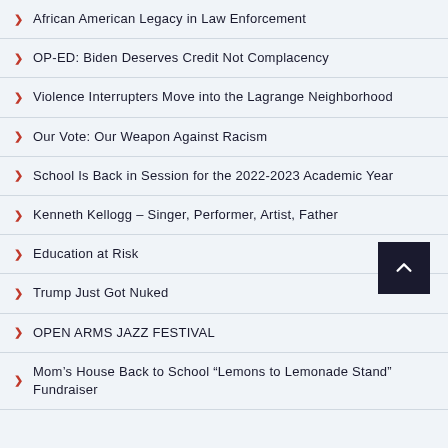African American Legacy in Law Enforcement
OP-ED: Biden Deserves Credit Not Complacency
Violence Interrupters Move into the Lagrange Neighborhood
Our Vote: Our Weapon Against Racism
School Is Back in Session for the 2022-2023 Academic Year
Kenneth Kellogg – Singer, Performer, Artist, Father
Education at Risk
Trump Just Got Nuked
OPEN ARMS JAZZ FESTIVAL
Mom's House Back to School "Lemons to Lemonade Stand" Fundraiser